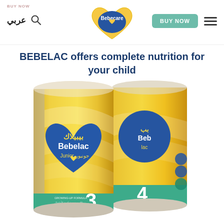عربي | BUY NOW | Bebecare logo | BUY NOW button | hamburger menu
BEBELAC offers complete nutrition for your child
[Figure (photo): Two Bebelac Junior formula tins (cans) with yellow and gold gradient design. The front tin is labeled Bebelac Junior number 3 with Arabic text 'بيبيلاك' and a blue heart logo. The back tin shows number 4. Both have green bases and certification badges on the right tin.]